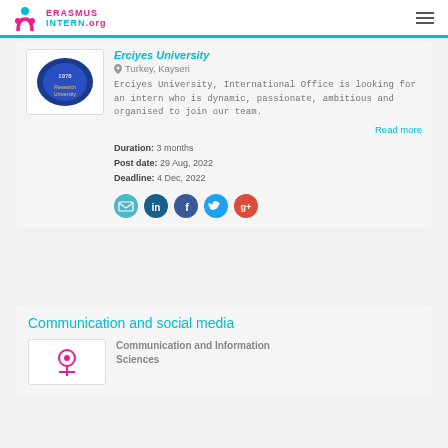ERASMUS INTERN.org
Erciyes University
Turkey, Kayseri
Erciyes University, International Office is looking for an intern who is dynamic, passionate, ambitious and organised to join our team.
Read more
Duration: 3 months
Post date: 29 Aug, 2022
Deadline: 4 Dec, 2022
[Figure (infographic): Social sharing icons: email, LinkedIn, Facebook, Twitter, Google+]
Communication and social media
Communication and Information Sciences